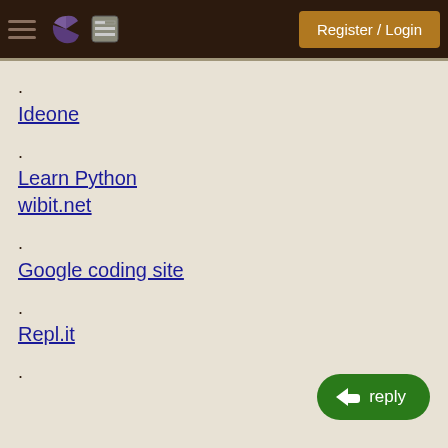Register / Login
.
Ideone
.
Learn Python
wibit.net
.
Google coding site
.
Repl.it
.